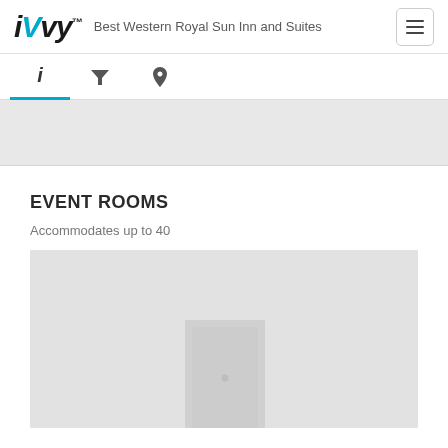iVvy — Best Western Royal Sun Inn and Suites
[Figure (screenshot): Navigation tab bar with info (i), filter, and location icons; info tab is active with blue underline]
[Figure (photo): Gray banner placeholder area]
EVENT ROOMS
Accommodates up to 40
[Figure (photo): Gray room image placeholder showing a door illustration in light gray tones]